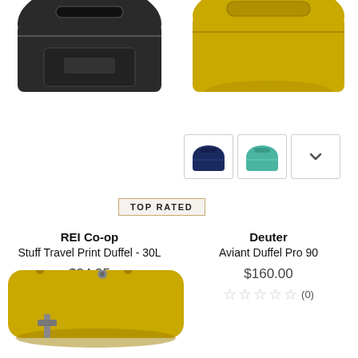[Figure (photo): Top portion of a dark/black duffel bag product image, cropped at top-left]
[Figure (photo): Top portion of a yellow/mustard duffel bag product image, cropped at top-right]
[Figure (photo): Color swatches for Deuter Aviant Duffel Pro 90: navy blue and mint/teal options, with a dropdown arrow]
TOP RATED
REI Co-op
Stuff Travel Print Duffel - 30L
$34.95
★★★★½ (7)
Deuter
Aviant Duffel Pro 90
$160.00
☆☆☆☆☆ (0)
[Figure (photo): Bottom portion of yellow duffel bag, cropped, showing handles and body]